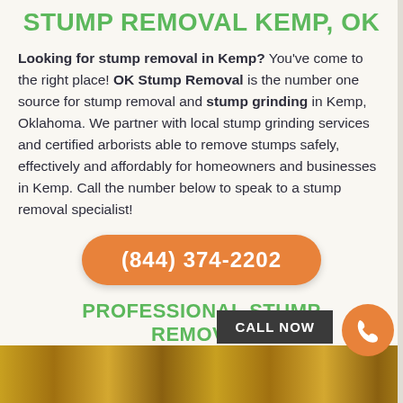STUMP REMOVAL KEMP, OK
Looking for stump removal in Kemp? You've come to the right place! OK Stump Removal is the number one source for stump removal and stump grinding in Kemp, Oklahoma. We partner with local stump grinding services and certified arborists able to remove stumps safely, effectively and affordably for homeowners and businesses in Kemp. Call the number below to speak to a stump removal specialist!
(844) 374-2202
PROFESSIONAL STUMP REMOVAL "GUARANTEED GONE!"
[Figure (photo): Photo strip at the bottom showing stump grinding equipment in yellow/orange tones]